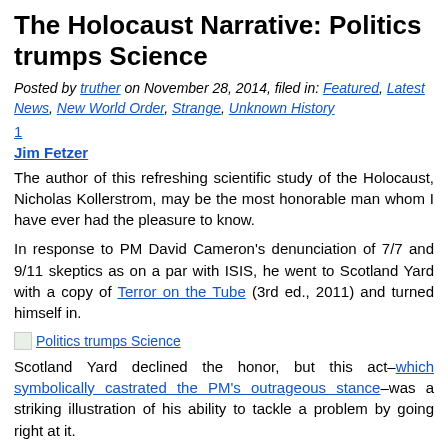The Holocaust Narrative: Politics trumps Science
Posted by truther on November 28, 2014, filed in: Featured, Latest News, New World Order, Strange, Unknown History
1
Jim Fetzer
The author of this refreshing scientific study of the Holocaust, Nicholas Kollerstrom, may be the most honorable man whom I have ever had the pleasure to know.
In response to PM David Cameron’s denunciation of 7/7 and 9/11 skeptics as on a par with ISIS, he went to Scotland Yard with a copy of Terror on the Tube (3rd ed., 2011) and turned himself in.
[Figure (other): Image link labeled 'Politics trumps Science']
Scotland Yard declined the honor, but this act–which symbolically castrated the PM’s outrageous stance–was a striking illustration of his ability to tackle a problem by going right at it.